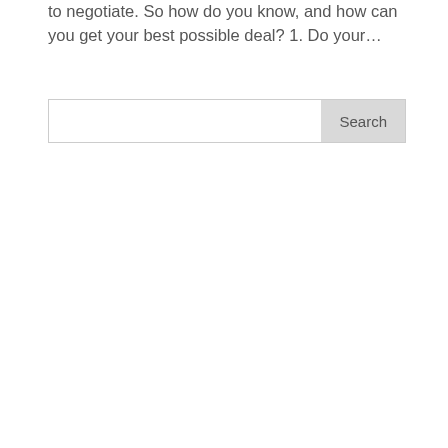to negotiate. So how do you know, and how can you get your best possible deal? 1. Do your...
[Figure (screenshot): A search input box with a 'Search' button on the right side, styled with a light gray border and gray button background.]